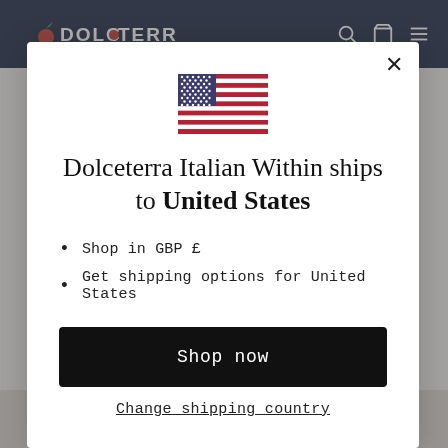DOLCETERRA
[Figure (screenshot): Modal dialog with US flag, text and buttons on Dolceterra website]
Dolceterra Italian Within ships to United States
Shop in GBP £
Get shipping options for United States
Shop now
Change shipping country